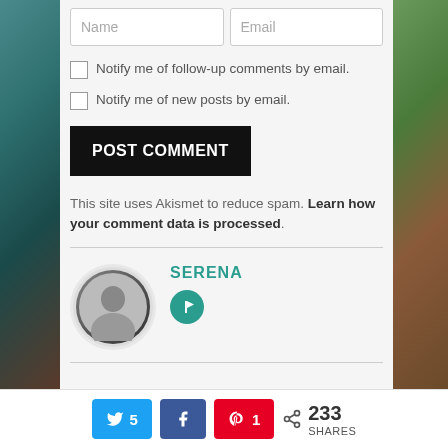Name | Email
Notify me of follow-up comments by email.
Notify me of new posts by email.
POST COMMENT
This site uses Akismet to reduce spam. Learn how your comment data is processed.
SERENA
5 (Twitter share) | (Facebook share) | 1 (Pinterest share) | 233 SHARES